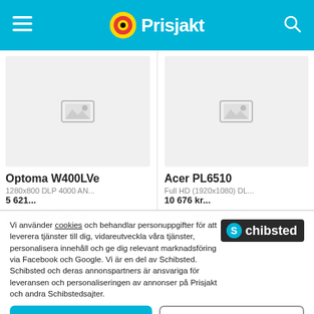Prisjakt
[Figure (photo): Optoma W400LVe product placeholder image]
Optoma W400LVe
1280x800 DLP 4000 AN...
5 621...
[Figure (photo): Acer PL6510 product placeholder image]
Acer PL6510
Full HD (1920x1080) DL...
10 676 kr...
Vi använder cookies och behandlar personuppgifter för att leverera tjänster till dig, vidareutveckla våra tjänster, personalisera innehåll och ge dig relevant marknadsföring via Facebook och Google. Vi är en del av Schibsted. Schibsted och deras annonspartners är ansvariga för leveransen och personaliseringen av annonser på Prisjakt och andra Schibstedsajter.
Acceptera
Mina val